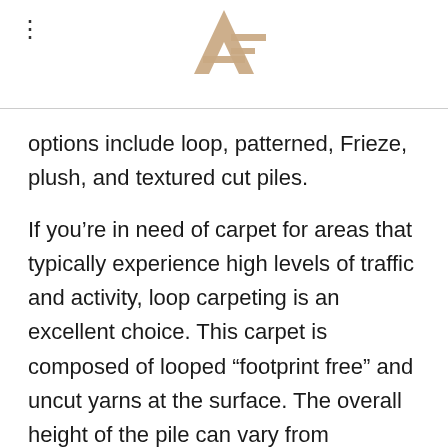[Figure (logo): AF monogram logo in beige/tan color, stylized letter A with a horizontal F crossbar]
options include loop, patterned, Frieze, plush, and textured cut piles.
If you’re in need of carpet for areas that typically experience high levels of traffic and activity, loop carpeting is an excellent choice. This carpet is composed of looped “footprint free” and uncut yarns at the surface. The overall height of the pile can vary from abundance to tight and low. The particular way in which loop carpet is